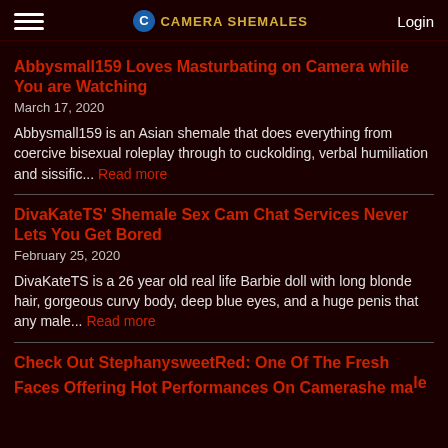Camera Shemales | Login
Abbysmall159 Loves Masturbating on Camera while You are Watching
March 17, 2020
Abbysmall159 is an Asian shemale that does everything from coercive bisexual roleplay through to cuckolding, verbal humiliation and sissific... Read more
DivaKateTS' Shemale Sex Cam Chat Services Never Lets You Get Bored
February 25, 2020
DivaKateTS is a 26 year old real life Barbie doll with long blonde hair, gorgeous curvy body, deep blue eyes, and a huge penis that any male... Read more
Check Out StephanysweetRed: One Of The Fresh Faces Offering Hot Performances On Camera shemale